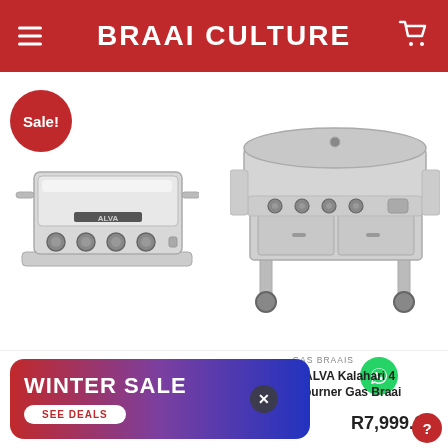BRAAI CULTURE
[Figure (photo): Two BBQ grills/braais on a white background. Left: Alva built-in gas braai (countertop style, stainless steel, with 'Sale!' badge). Right: Alva Kalahari 4-burner freestanding gas braai on wheels, stainless steel.]
[Figure (infographic): Winter Sale promotional banner with gradient background (red to purple to blue), 'WINTER SALE' text in white bold, 'SEE DEALS' button in white, and a close (X) button]
GAS BRAAIS
ALVA Kalahari 4 burner Gas Braai
R7,999.00